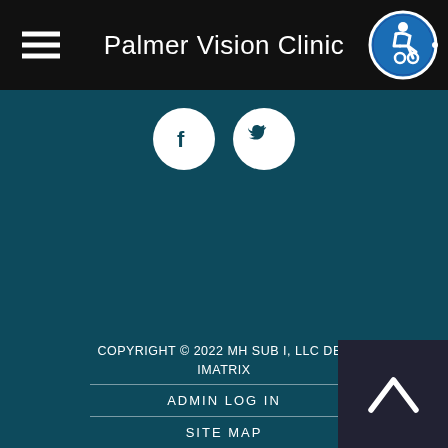Palmer Vision Clinic
[Figure (infographic): Social media icons: Facebook (f) and Twitter (bird) as white icons on white circles]
COPYRIGHT © 2022 MH SUB I, LLC DBA IMATRIX
ADMIN LOG IN
SITE MAP
PRIVACY POLICY
HIPAA POLICY
TERMS OF USE
[Figure (infographic): Back to top button with upward chevron arrow on dark background]